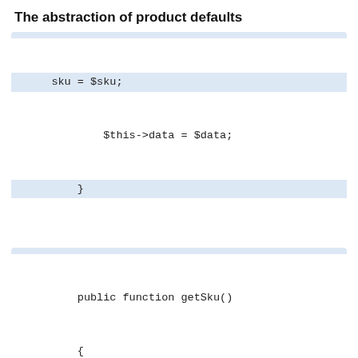The abstraction of product defaults
sku = $sku;
        $this->data = $data;
        }
public function getSku()
        {
            return $this->sku;
        }
public function getData()
        {
            return $this->data;
        }